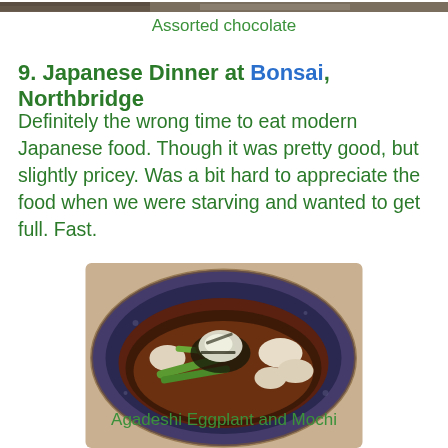[Figure (photo): Partial photo of assorted chocolate at top of page]
Assorted chocolate
9. Japanese Dinner at Bonsai, Northbridge
Definitely the wrong time to eat modern Japanese food. Though it was pretty good, but slightly pricey. Was a bit hard to appreciate the food when we were starving and wanted to get full. Fast.
[Figure (photo): A ceramic bowl containing Agadeshi Eggplant and Mochi in a dark broth with green vegetables and white mochi pieces]
Agadeshi Eggplant and Mochi